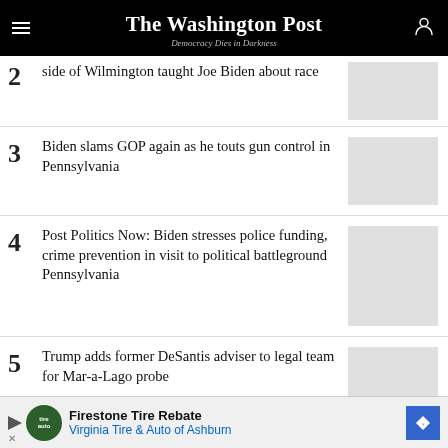The Washington Post — Democracy Dies in Darkness
2. [partial] side of Wilmington taught Joe Biden about race
3. Biden slams GOP again as he touts gun control in Pennsylvania
4. Post Politics Now: Biden stresses police funding, crime prevention in visit to political battleground Pennsylvania
5. Trump adds former DeSantis adviser to legal team for Mar-a-Lago probe
Firestone Tire Rebate — Virginia Tire & Auto of Ashburn (advertisement)